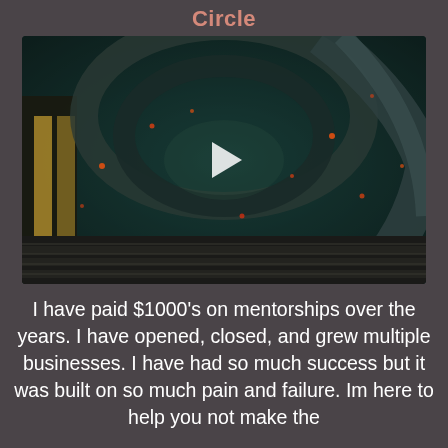Circle
[Figure (screenshot): A dark sci-fi video thumbnail showing swirling metallic/architectural structures with orange glowing lights and a white play button triangle in the center.]
I have paid $1000’s on mentorships over the years. I have opened, closed, and grew multiple businesses. I have had so much success but it was built on so much pain and failure. Im here to help you not make the